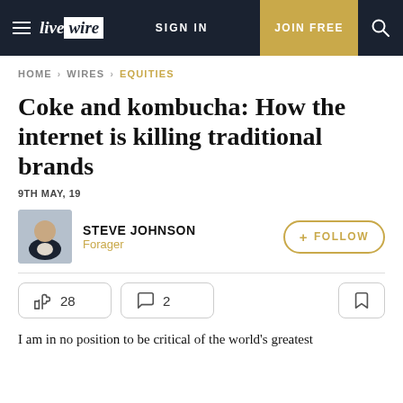livewire | SIGN IN | JOIN FREE
HOME > WIRES > EQUITIES
Coke and kombucha: How the internet is killing traditional brands
9TH MAY, 19
STEVE JOHNSON
Forager
28 likes, 2 comments
I am in no position to be critical of the world's greatest